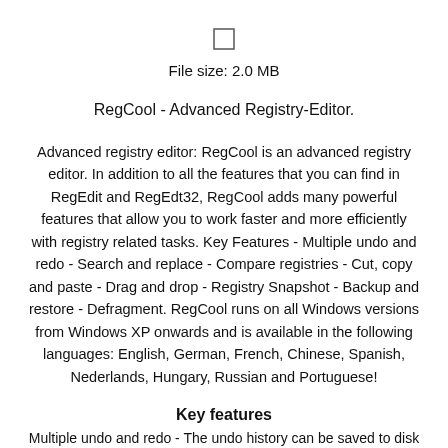[Figure (other): Small empty checkbox square]
File size: 2.0 MB
RegCool - Advanced Registry-Editor.
Advanced registry editor: RegCool is an advanced registry editor. In addition to all the features that you can find in RegEdit and RegEdt32, RegCool adds many powerful features that allow you to work faster and more efficiently with registry related tasks. Key Features - Multiple undo and redo - Search and replace - Compare registries - Cut, copy and paste - Drag and drop - Registry Snapshot - Backup and restore - Defragment. RegCool runs on all Windows versions from Windows XP onwards and is available in the following languages: English, German, French, Chinese, Spanish, Nederlands, Hungary, Russian and Portuguese!
Key features
Multiple undo and redo - The undo history can be saved to disk and reloaded at startup...
Search & replace - Search and replace registry keys, values and data with a super fast search algorithm. You can search the entire registry